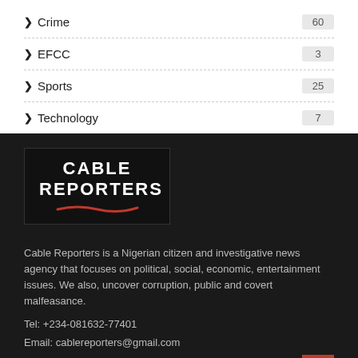Crime 60
EFCC 3
Sports 25
Technology 7
[Figure (logo): Cable Reporters logo — dark background with white bold text CABLE REPORTERS and a red underline swoosh]
Cable Reporters is a Nigerian citizen and investigative news agency that focuses on political, social, economic, entertainment issues. We also, uncover corruption, public and covert malfeasance.
Tel: +234-081632-77401
Email: cablereporters@gmail.com
CABLE REPORTERS: Truth, Objectivity, Courage.
copyright@ 2020